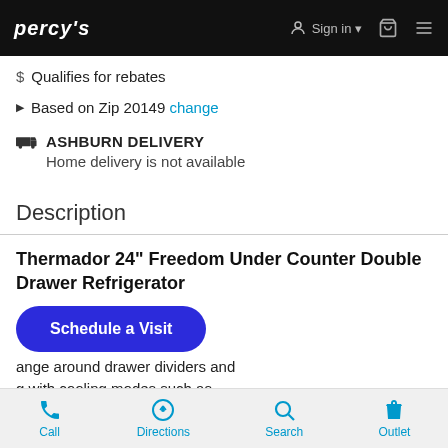PERCY'S | Sign in | Cart | Menu
$ Qualifies for rebates
▶ Based on Zip 20149 change
🚚 ASHBURN DELIVERY
Home delivery is not available
Description
Thermador 24" Freedom Under Counter Double Drawer Refrigerator
Schedule a Visit
...ange around drawer dividers and ...g with cooling modes such as
Call | Directions | Search | Outlet